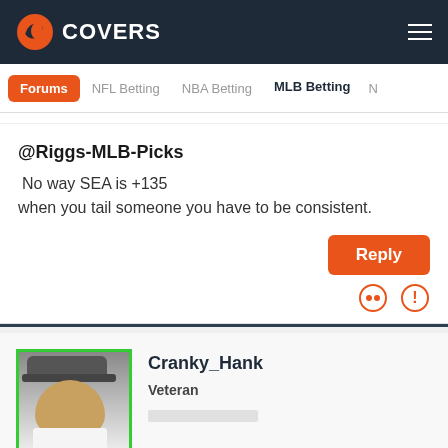COVERS
Forums | NFL Betting | NBA Betting | MLB Betting | N
@Riggs-MLB-Picks
No way SEA is +135
when you tail someone you have to be consistent.
Reply
Cranky_Hank
Veteran